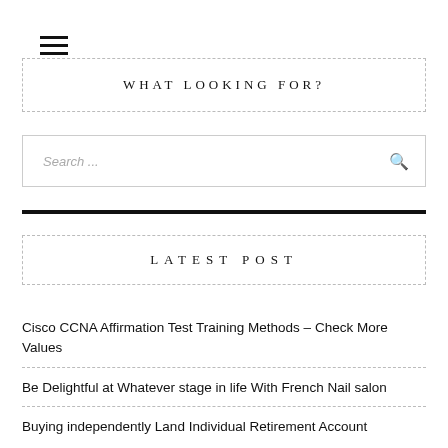[Figure (other): Hamburger menu icon (three horizontal lines)]
WHAT LOOKING FOR?
Search ...
LATEST POST
Cisco CCNA Affirmation Test Training Methods – Check More Values
Be Delightful at Whatever stage in life With French Nail salon
Buying independently Land Individual Retirement Account